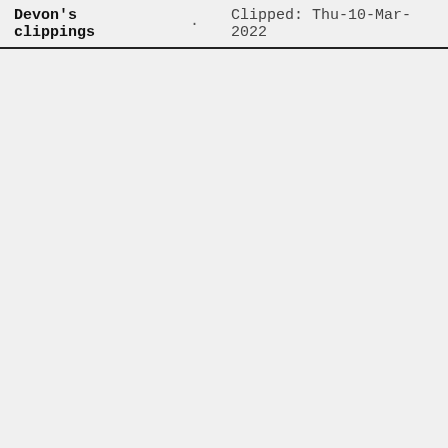Devon's clippings · Clipped: Thu-10-Mar-2022
said. I n 2021,30%0